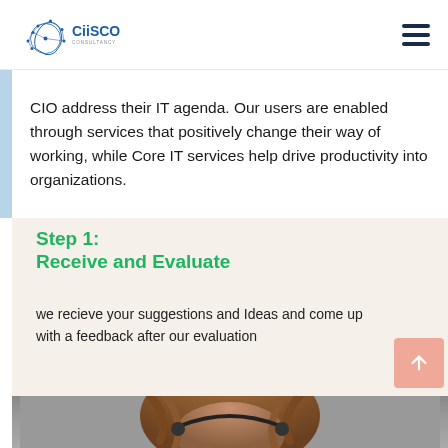[Figure (logo): CiiSCO Consultancy logo with brain/network graphic in blue]
CIO address their IT agenda. Our users are enabled through services that positively change their way of working, while Core IT services help drive productivity into organizations.
Step 1:
Receive and Evaluate
we recieve your suggestions and Ideas and come up with a feedback after our evaluation
[Figure (photo): Photo of a woman with curly hair and headset, partially visible at bottom of page]